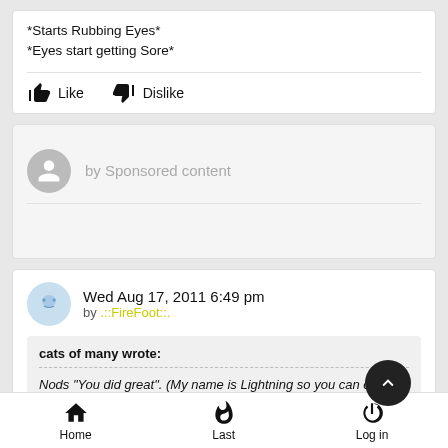*Starts Rubbing Eyes*
*Eyes start getting Sore*
Like   Dislike
by Sponsored content
Wed Aug 17, 2011 6:49 pm
by ::FireFoot:.
cats of many wrote:
Nods "You did great". (My name is Lightning so you can call
Home   Last   Log in